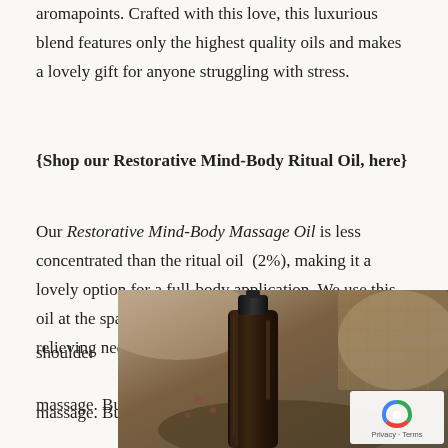aromapoints. Crafted with this love, this luxurious blend features only the highest quality oils and makes a lovely gift for anyone struggling with stress.
{Shop our Restorative Mind-Body Ritual Oil, here}
Our Restorative Mind-Body Massage Oil is less concentrated than the ritual oil  (2%), making it a lovely option for a full-body application. We use this oil at the spa anytime we finish a facial with a stress-relieving neck and shoulder massage. But don't feel like
[Figure (photo): A dark glass bottle with a dropper cap photographed close-up against a blurred background with natural elements.]